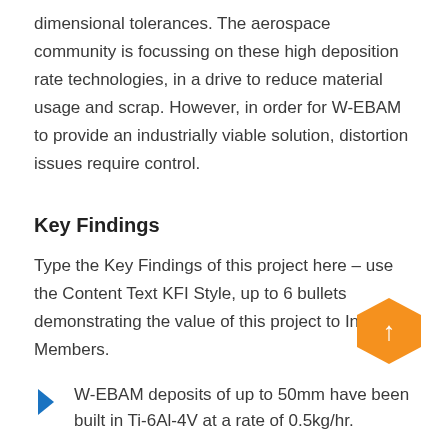dimensional tolerances. The aerospace community is focussing on these high deposition rate technologies, in a drive to reduce material usage and scrap. However, in order for W-EBAM to provide an industrially viable solution, distortion issues require control.
Key Findings
Type the Key Findings of this project here – use the Content Text KFI Style, up to 6 bullets demonstrating the value of this project to Industrial Members.
[Figure (other): Orange hexagon with upward arrow icon — navigation/scroll-to-top button]
W-EBAM deposits of up to 50mm have been built in Ti-6Al-4V at a rate of 0.5kg/hr.